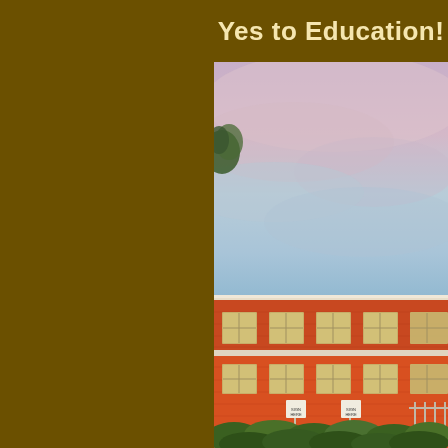Yes to Education!
[Figure (photo): Photograph of a red brick school building with white-framed windows, green shrubs at the base, and a pastel pink and blue sky above. A tree is partially visible at the upper left edge of the photo.]